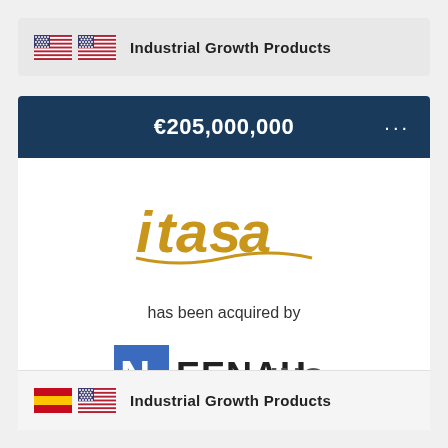Industrial Growth Products
€205,000,000
[Figure (logo): itasa logo in gold/yellow stylized text]
has been acquired by
[Figure (logo): Neenah Inc logo with blue square N and text]
April 2021
Industrial Growth Products